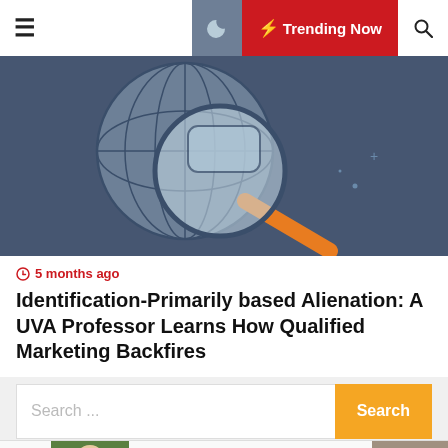≡  🌙  ⚡ Trending Now  🔍
[Figure (illustration): Illustration of a magnifying glass over a globe/world map on a dark blue background with an orange pencil/pen element]
⏱ 5 months ago
Identification-Primarily based Alienation: A UVA Professor Learns How Qualified Marketing Backfires
Search ...
e cliff
[Figure (photo): Photo of a woman outdoors]
Monetary shares lead as major banking companies report earnings
[Figure (photo): Photo of a building facade]